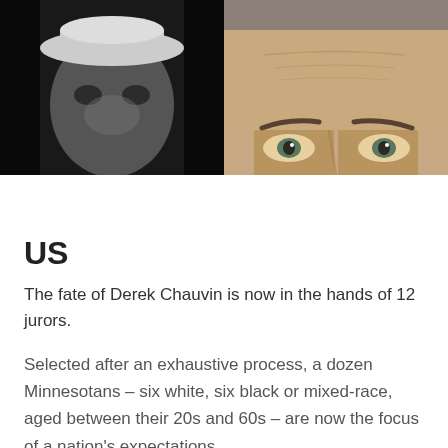[Figure (photo): Two side-by-side photographs: left shows a dark, grainy black-and-white image of a person wearing a hat; right shows a color close-up of a middle-aged man's forehead and eyes.]
US
The fate of Derek Chauvin is now in the hands of 12 jurors.
Selected after an exhaustive process, a dozen Minnesotans – six white, six black or mixed-race, aged between their 20s and 60s – are now the focus of a nation's expectations.